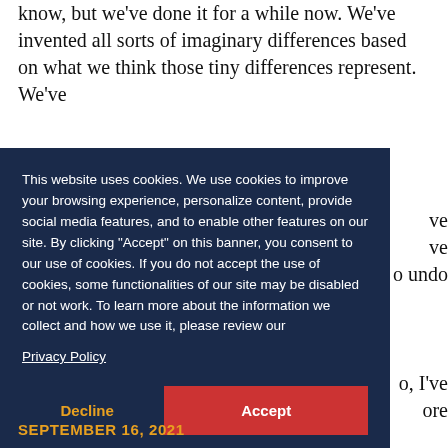know, but we've done it for a while now. We've invented all sorts of imaginary differences based on what we think those tiny differences represent. We've
[Figure (screenshot): Cookie consent overlay banner with dark navy background. Contains cookie policy text, a Privacy Policy link, a Decline button (gold text), and an Accept button (red background, white text).]
ve ve o undo o, I've ore
SEPTEMBER 16, 2021